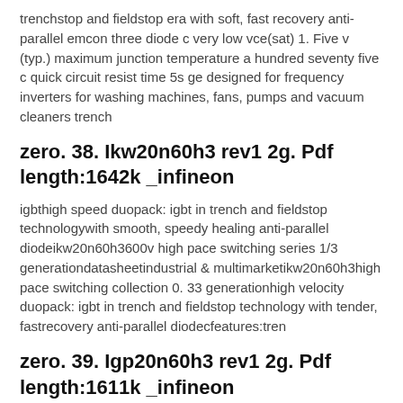trenchstop and fieldstop era with soft, fast recovery anti-parallel emcon three diode c very low vce(sat) 1. Five v (typ.) maximum junction temperature a hundred seventy five c quick circuit resist time 5s ge designed for frequency inverters for washing machines, fans, pumps and vacuum cleaners trench
zero. 38. Ikw20n60h3 rev1 2g. Pdf length:1642k _infineon
igbthigh speed duopack: igbt in trench and fieldstop technologywith smooth, speedy healing anti-parallel diodeikw20n60h3600v high pace switching series 1/3 generationdatasheetindustrial & multimarketikw20n60h3high pace switching collection 0. 33 generationhigh velocity duopack: igbt in trench and fieldstop technology with tender, fastrecovery anti-parallel diodecfeatures:tren
zero. 39. Igp20n60h3 rev1 2g. Pdf length:1611k _infineon